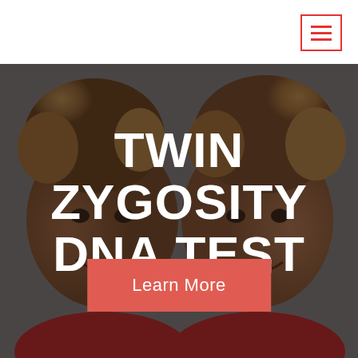[Figure (photo): Header bar with hamburger menu icon (three horizontal red lines) in red-bordered box on white background, top right corner]
[Figure (photo): Two smiling twin children with curly light brown hair wearing red clothing, overlaid with dark semi-transparent layer]
TWIN ZYGOSITY DNA TEST
Learn More